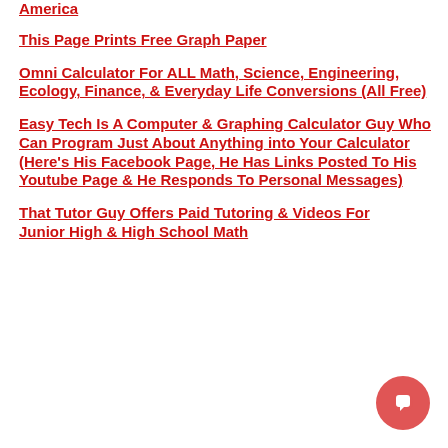America
This Page Prints Free Graph Paper
Omni Calculator For ALL Math, Science, Engineering, Ecology, Finance, & Everyday Life Conversions (All Free)
Easy Tech Is A Computer & Graphing Calculator Guy Who Can Program Just About Anything into Your Calculator (Here's His Facebook Page, He Has Links Posted To His Youtube Page & He Responds To Personal Messages)
That Tutor Guy Offers Paid Tutoring & Videos For Junior High & High School Math